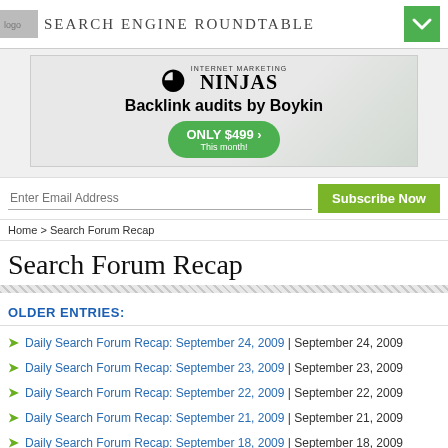SEARCH ENGINE ROUNDTABLE
[Figure (illustration): Internet Marketing Ninjas logo and advertisement banner: Backlink audits by Boykin, Only $499 This month!]
Enter Email Address
Subscribe Now
Home > Search Forum Recap
Search Forum Recap
OLDER ENTRIES:
Daily Search Forum Recap: September 24, 2009 | September 24, 2009
Daily Search Forum Recap: September 23, 2009 | September 23, 2009
Daily Search Forum Recap: September 22, 2009 | September 22, 2009
Daily Search Forum Recap: September 21, 2009 | September 21, 2009
Daily Search Forum Recap: September 18, 2009 | September 18, 2009